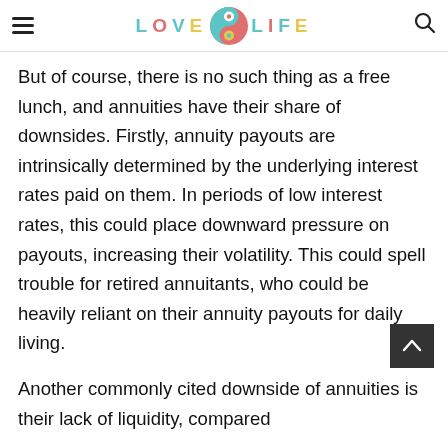LOVE LIFE
But of course, there is no such thing as a free lunch, and annuities have their share of downsides. Firstly, annuity payouts are intrinsically determined by the underlying interest rates paid on them. In periods of low interest rates, this could place downward pressure on payouts, increasing their volatility. This could spell trouble for retired annuitants, who could be heavily reliant on their annuity payouts for daily living.
Another commonly cited downside of annuities is their lack of liquidity, compared